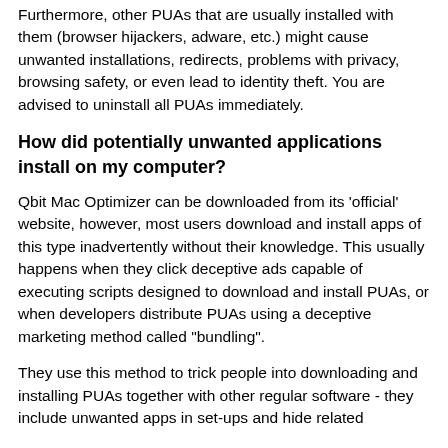Furthermore, other PUAs that are usually installed with them (browser hijackers, adware, etc.) might cause unwanted installations, redirects, problems with privacy, browsing safety, or even lead to identity theft. You are advised to uninstall all PUAs immediately.
How did potentially unwanted applications install on my computer?
Qbit Mac Optimizer can be downloaded from its 'official' website, however, most users download and install apps of this type inadvertently without their knowledge. This usually happens when they click deceptive ads capable of executing scripts designed to download and install PUAs, or when developers distribute PUAs using a deceptive marketing method called "bundling".
They use this method to trick people into downloading and installing PUAs together with other regular software - they include unwanted apps in set-ups and hide related